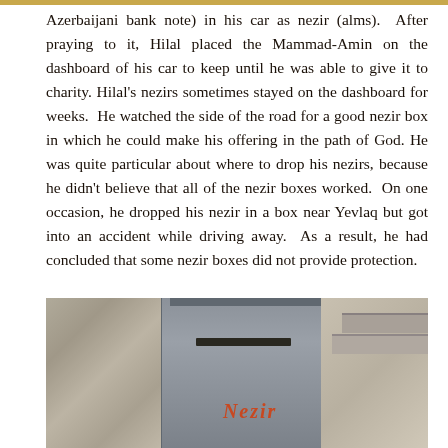Azerbaijani bank note) in his car as nezir (alms). After praying to it, Hilal placed the Mammad-Amin on the dashboard of his car to keep until he was able to give it to charity. Hilal's nezirs sometimes stayed on the dashboard for weeks. He watched the side of the road for a good nezir box in which he could make his offering in the path of God. He was quite particular about where to drop his nezirs, because he didn't believe that all of the nezir boxes worked. On one occasion, he dropped his nezir in a box near Yevlaq but got into an accident while driving away. As a result, he had concluded that some nezir boxes did not provide protection.
[Figure (photo): A photo of a metal nezir (alms) box mounted on a stone wall, with the word 'Nezir' written in red/orange on the front of the box, and stone steps visible to the right.]